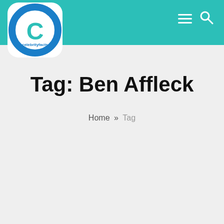CelebrityFacts — Header navigation with logo, hamburger menu, and search icon
Tag: Ben Affleck
Home » Tag